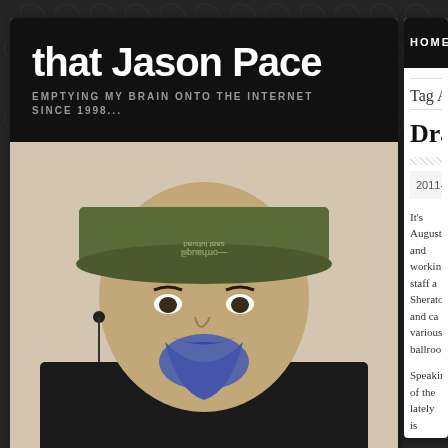that Jason Pace
EMPTYING MY BRAIN ONTO THE INTERNET SINCE 1998...
[Figure (photo): Selfie photo of a man with a blue-dyed goatee and a green baseball cap]
HOME  WE
Tag Archi
Dragon*
2011-08-10 |
It's August and working staff a Sheraton and ca various ballroo
Speaking of the lately is becaus